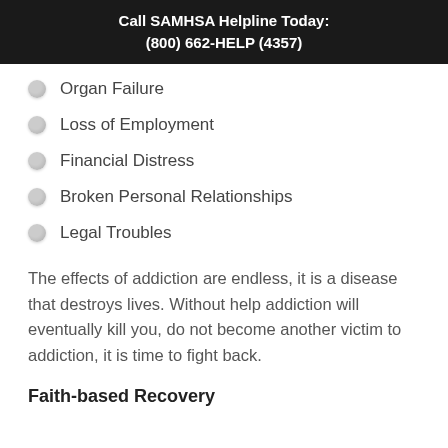Call SAMHSA Helpline Today:
(800) 662-HELP (4357)
Organ Failure
Loss of Employment
Financial Distress
Broken Personal Relationships
Legal Troubles
The effects of addiction are endless, it is a disease that destroys lives. Without help addiction will eventually kill you, do not become another victim to addiction, it is time to fight back.
Faith-based Recovery